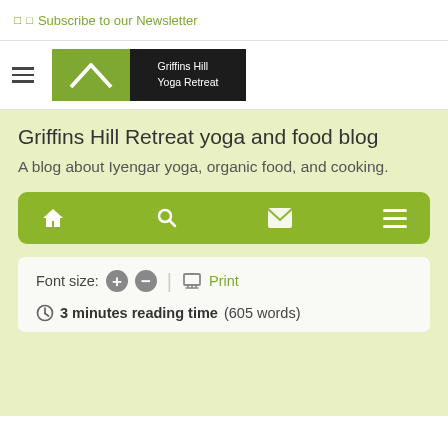Subscribe to our Newsletter
[Figure (logo): Griffins Hill Yoga Retreat logo: green triangle/mountain shape on left, dark background with text 'Griffins Hill Yoga Retreat' on right]
Griffins Hill Retreat yoga and food blog
A blog about Iyengar yoga, organic food, and cooking.
[Figure (screenshot): Navigation toolbar with home, search, mail, and menu icons on olive-green background]
Font size: + −   Print
3 minutes reading time (605 words)